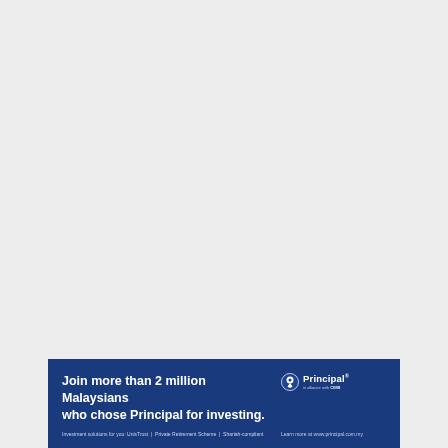[Figure (illustration): Large light grey blank area occupying the upper portion of the page]
Join more than 2 million Malaysians who chose Principal for investing. Investment solutions for you: UnisTrust | Private Retirement Scheme | Shariah-compliant
[Figure (logo): Principal logo with globe icon and text 'Principal' with tagline 'in alliance with CIMB', and 'Learn more at www.principal.com.my']